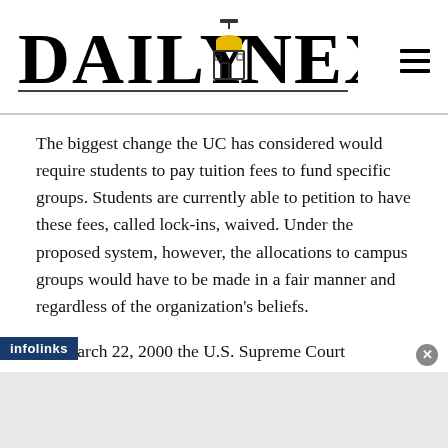DAILY NEXUS
The biggest change the UC has considered would require students to pay tuition fees to fund specific groups. Students are currently able to petition to have these fees, called lock-ins, waived. Under the proposed system, however, the allocations to campus groups would have to be made in a fair manner and regardless of the organization's beliefs.
On March 22, 2000 the U.S. Supreme Court unanimously voted against a student seeking reimbursement for fees